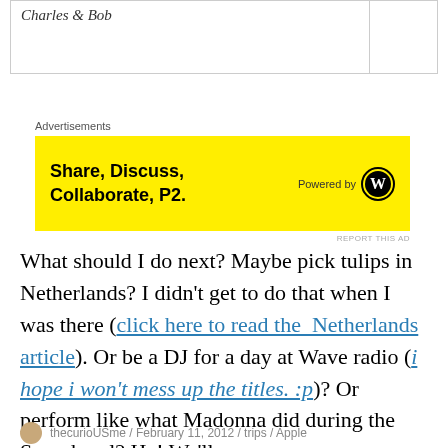| Charles & Bob |  |
Advertisements
[Figure (other): Yellow advertisement banner reading 'Share, Discuss, Collaborate, P2.' with 'Powered by' WordPress logo on right]
REPORT THIS AD
What should I do next? Maybe pick tulips in Netherlands? I didn't get to do that when I was there (click here to read the Netherlands article). Or be a DJ for a day at Wave radio (i hope i won't mess up the titles. :p)? Or perform like what Madonna did during the Superbowl? Ha! We'll see.
thecurioUSme / February 11, 2012 / trips / Apple